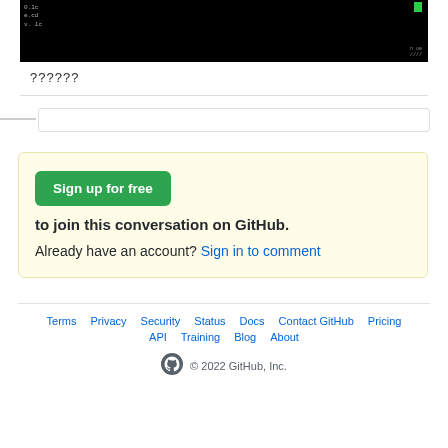[Figure (screenshot): Screenshot of a dark terminal/code editor window with green indicator dot in top right and monospace text on left and bottom right]
??????
Sign up for free to join this conversation on GitHub. Already have an account? Sign in to comment
Terms · Privacy · Security · Status · Docs · Contact GitHub · Pricing · API · Training · Blog · About · © 2022 GitHub, Inc.